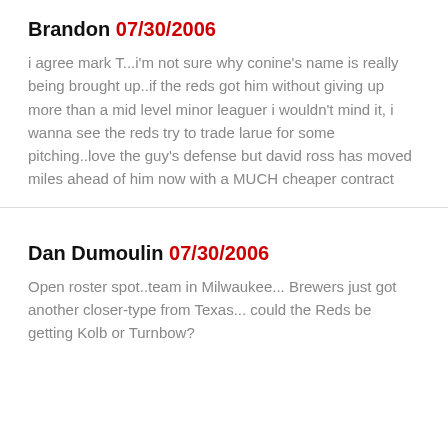Brandon 07/30/2006
i agree mark T...i'm not sure why conine's name is really being brought up..if the reds got him without giving up more than a mid level minor leaguer i wouldn't mind it, i wanna see the reds try to trade larue for some pitching..love the guy's defense but david ross has moved miles ahead of him now with a MUCH cheaper contract
Dan Dumoulin 07/30/2006
Open roster spot..team in Milwaukee... Brewers just got another closer-type from Texas... could the Reds be getting Kolb or Turnbow?